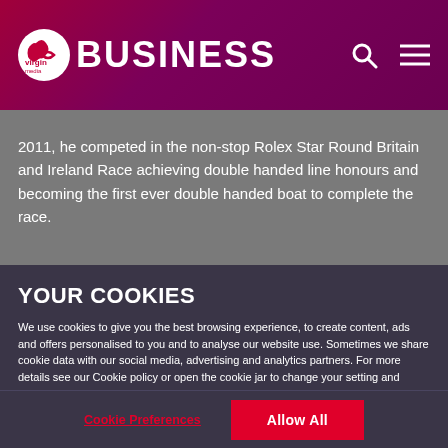Virgin Media Business
2011, he competed in the non-stop Rolex Star Round Britain and Ireland Race achieving double handed line honours and becoming the first ever double handed boat to complete the race.
YOUR COOKIES
We use cookies to give you the best browsing experience, to create content, ads and offers personalised to you and to analyse our website use. Sometimes we share cookie data with our social media, advertising and analytics partners. For more details see our Cookie policy or open the cookie jar to change your setting and switch off any non-essential cookies. Cookie Policy
Cookie Preferences | Allow All